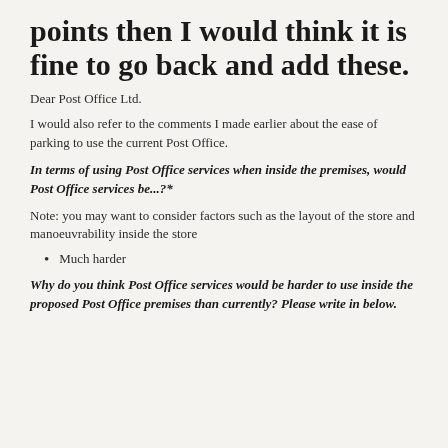points then I would think it is fine to go back and add these.
Dear Post Office Ltd.
I would also refer to the comments I made earlier about the ease of parking to use the current Post Office.
In terms of using Post Office services when inside the premises, would Post Office services be...?*
Note: you may want to consider factors such as the layout of the store and manoeuvrability inside the store
Much harder
Why do you think Post Office services would be harder to use inside the proposed Post Office premises than currently? Please write in below.